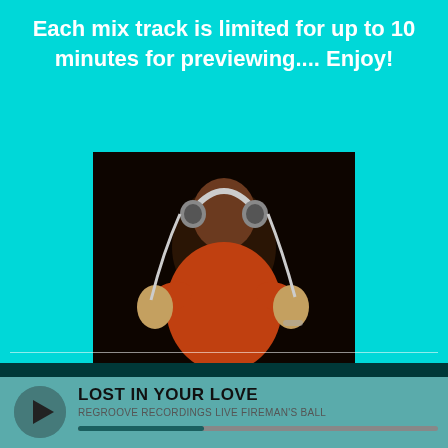Each mix track is limited for up to 10 minutes for previewing.... Enjoy!
[Figure (photo): Person wearing headphones and holding them out toward the camera in a dark background, wearing an orange shirt]
"Music doesn't simply take us back in time, however, it allows you to really relive those special moments ...."
LOST IN YOUR LOVE
REGROOVE RECORDINGS LIVE FIREMAN'S BALL